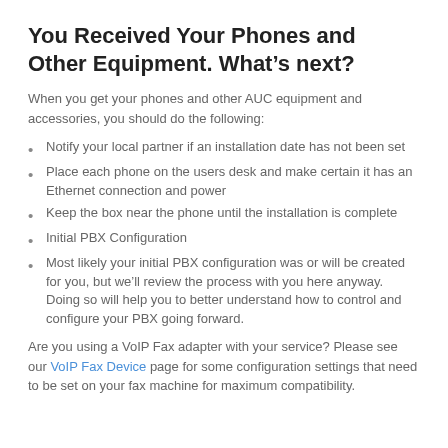You Received Your Phones and Other Equipment. What’s next?
When you get your phones and other AUC equipment and accessories, you should do the following:
Notify your local partner if an installation date has not been set
Place each phone on the users desk and make certain it has an Ethernet connection and power
Keep the box near the phone until the installation is complete
Initial PBX Configuration
Most likely your initial PBX configuration was or will be created for you, but we’ll review the process with you here anyway. Doing so will help you to better understand how to control and configure your PBX going forward.
Are you using a VoIP Fax adapter with your service? Please see our VoIP Fax Device page for some configuration settings that need to be set on your fax machine for maximum compatibility.